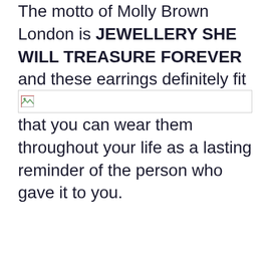The motto of Molly Brown London is JEWELLERY SHE WILL TREASURE FOREVER and these earrings definitely fit that. They are elegant enough that you can wear them throughout your life as a lasting reminder of the person who gave it to you.
[Figure (photo): Broken/unloaded image placeholder with a small broken image icon on a white background with a thin border]